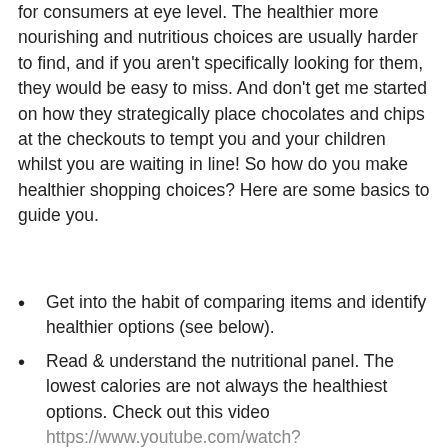for consumers at eye level. The healthier more nourishing and nutritious choices are usually harder to find, and if you aren't specifically looking for them, they would be easy to miss. And don't get me started on how they strategically place chocolates and chips at the checkouts to tempt you and your children whilst you are waiting in line! So how do you make healthier shopping choices? Here are some basics to guide you.
Get into the habit of comparing items and identify healthier options (see below).
Read & understand the nutritional panel. The lowest calories are not always the healthiest options. Check out this video https://www.youtube.com/watch?